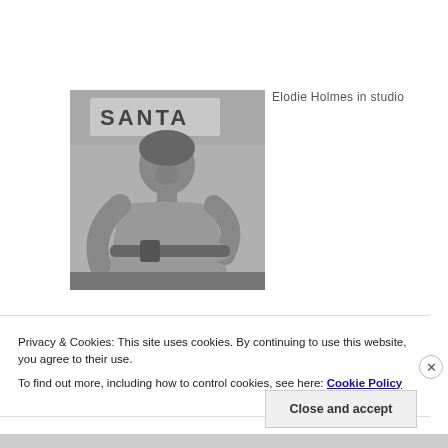[Figure (photo): Black and white photo of Elodie Holmes working in a studio, leaning over a workbench or lathe, with the word SANTA visible on a sign in the background.]
Elodie Holmes in studio
Privacy & Cookies: This site uses cookies. By continuing to use this website, you agree to their use.
To find out more, including how to control cookies, see here: Cookie Policy
Close and accept